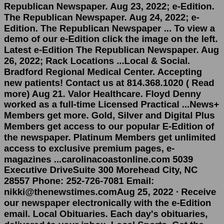Republican Newspaper. Aug 23, 2022; e-Edition. The Republican Newspaper. Aug 24, 2022; e-Edition. The Republican Newspaper ... To view a demo of our e-Edition click the image on the left. Latest e-Edition The Republican Newspaper. Aug 26, 2022; Rack Locations ...Local & Social. Bradford Regional Medical Center. Accepting new patients! Contact us at 814.368.1020 ( Read more) Aug 21. Valor Healthcare. Floyd Denny worked as a full-time Licensed Practical ...News+ Members get more. Gold, Silver and Digital Plus Members get access to our popular E-Edition of the newspaper. Platinum Members get unlimited access to exclusive premium pages, e-magazines ...carolinacoastonline.com 5039 Executive DriveSuite 300 Morehead City, NC 28557 Phone: 252-726-7081 Email: nikki@thenewstimes.comAug 25, 2022 · Receive our newspaper electronically with the e-Edition email. Local Obituaries. Each day's obituaries, delivered to your inbox. Local Sports. Get the latest headlines on local sports! The LNP e-Newspaper Share this